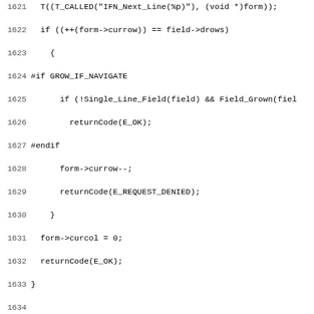Source code listing lines 1621-1652, C programming language code for form navigation functions IFN_Next_Line and IFN_Previous_Line